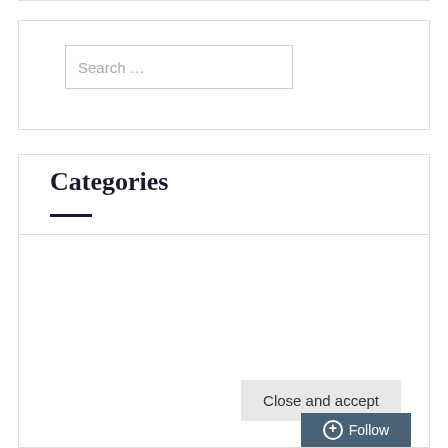Search …
Categories
Privacy & Cookies: This site uses cookies. By continuing to use this website, you agree to their use.
To find out more, including how to control cookies, see here: Cookie Policy
Close and accept
+ Follow